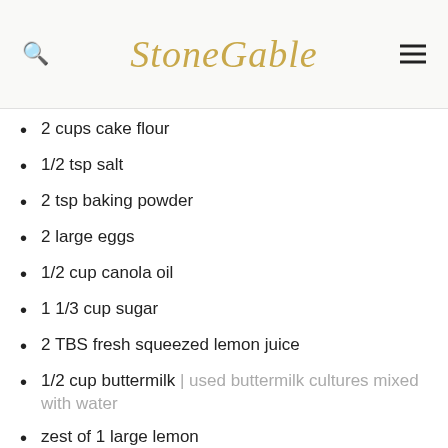StoneGable
2 cups cake flour
1/2 tsp salt
2 tsp baking powder
2 large eggs
1/2 cup canola oil
1 1/3 cup sugar
2 TBS fresh squeezed lemon juice
1/2 cup buttermilk | used buttermilk cultures mixed with water
zest of 1 large lemon
1 cup grated zucchini
1 1/4 cup confectioner's sugar
3 TBS fresh squeezed lemon juice
1 TBS milk